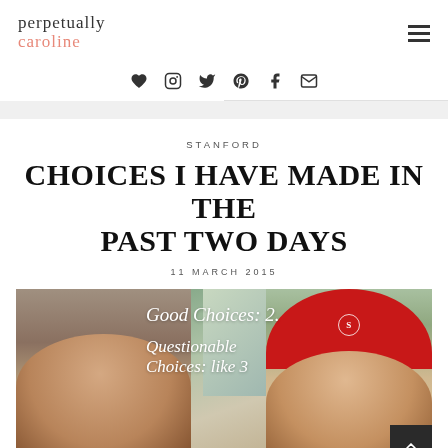perpetually caroline
[Figure (screenshot): Navigation icons: heart, instagram, twitter, pinterest, facebook, email]
STANFORD
CHOICES I HAVE MADE IN THE PAST TWO DAYS
11 MARCH 2015
[Figure (photo): Two young women smiling, with overlay text: Good Choices: 2. Questionable Choices: like 3. Woman on right wears a red Stanford cap.]